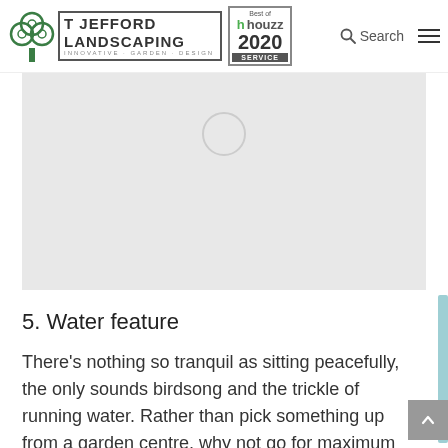[Figure (logo): T Jefford Landscaping logo with tree icon, Best of Houzz 2020 Service badge, Search icon and hamburger menu]
[Figure (photo): Loading image placeholder with spinner circle, light grey background]
5. Water feature
There’s nothing so tranquil as sitting peacefully, the only sounds birdsong and the trickle of running water. Rather than pick something up from a garden centre, why not go for maximum impact. A fountain has an